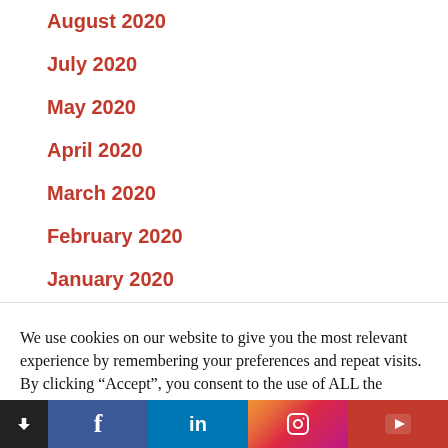August 2020
July 2020
May 2020
April 2020
March 2020
February 2020
January 2020
December 2019
We use cookies on our website to give you the most relevant experience by remembering your preferences and repeat visits. By clicking “Accept”, you consent to the use of ALL the cookies.
Cookie settings | ACCEPT | Facebook | LinkedIn | Instagram | YouTube